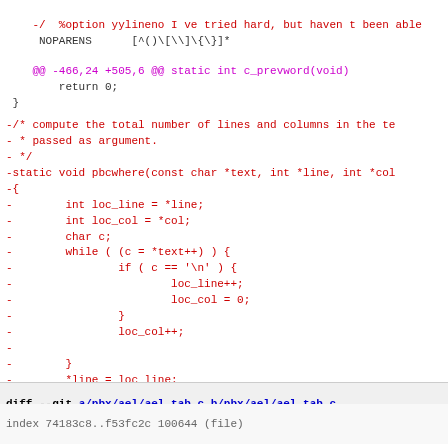-/  %option yylineno I ve tried hard, but haven t been able
NOPARENS   [^()\[\]\{\}]*
@@ -466,24 +505,6 @@ static int c_prevword(void)
return 0;
 }
-/* compute the total number of lines and columns in the te
- * passed as argument.
- */
-static void pbcwhere(const char *text, int *line, int *col
-{
-       int loc_line = *line;
-       int loc_col = *col;
-       char c;
-       while ( (c = *text++) ) {
-               if ( c == '\n' ) {
-                       loc_line++;
-                       loc_col = 0;
-               }
-               loc_col++;
-
-       }
-       *line = loc_line;
-       *col = loc_col;
-}
/* used by the bison code */
 void reset_parencount(yyscan_t yyscanner );
diff --git a/pbx/ael/ael.tab.c b/pbx/ael/ael.tab.c
index 74183c8..f53fc2c 100644 (file)